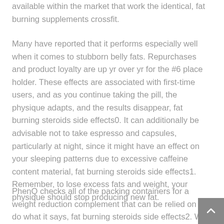available within the market that work the identical, fat burning supplements crossfit.
Many have reported that it performs especially well when it comes to stubborn belly fats. Repurchases and product loyalty are up yr over yr for the #6 place holder. These effects are associated with first-time users, and as you continue taking the pill, the physique adapts, and the results disappear, fat burning steroids side effects0. It can additionally be advisable not to take espresso and capsules, particularly at night, since it might have an effect on your sleeping patterns due to excessive caffeine content material, fat burning steroids side effects1. Remember, to lose excess fats and weight, your physique should stop producing new fat.
PhenQ checks all of the packing containers for a weight reduction complement that can be relied on to do what it says, fat burning steroids side effects2. With no unwanted effects, no harmful elements, a fair worth, and an impressive money-back